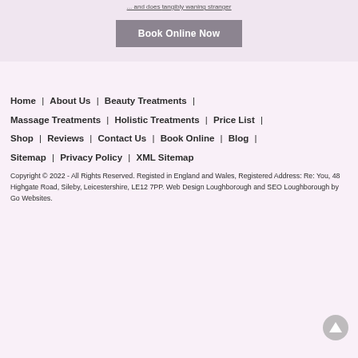... and does tangibly waning stranger
Book Online Now
Home | About Us | Beauty Treatments | Massage Treatments | Holistic Treatments | Price List | Shop | Reviews | Contact Us | Book Online | Blog | Sitemap | Privacy Policy | XML Sitemap
Copyright © 2022 - All Rights Reserved. Registed in England and Wales, Registered Address: Re: You, 48 Highgate Road, Sileby, Leicestershire, LE12 7PP. Web Design Loughborough and SEO Loughborough by Go Websites.